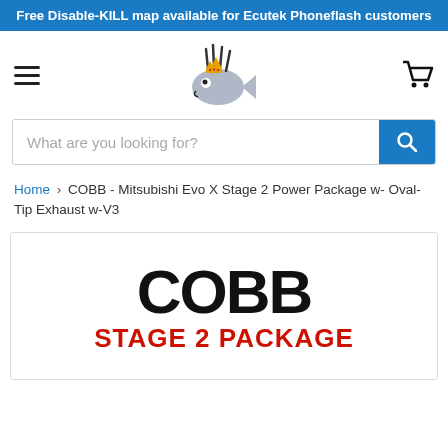Free Disable-KILL map available for Ecutek Phoneflash customers
[Figure (logo): Angry fish with crown logo (mohawk fish mascot)]
What are you looking for?
Home › COBB - Mitsubishi Evo X Stage 2 Power Package w- Oval-Tip Exhaust w-V3
[Figure (photo): COBB Stage 2 Package product image with large black COBB text and red STAGE 2 PACKAGE text below]